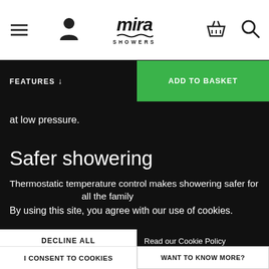Mira Showers navigation bar with menu, account, logo, basket, and search icons
FEATURES ↓
ADD TO BASKET
at low pressure.
Safer showering
Thermostatic temperature control makes showering safer for all the family
By using this site, you agree with our use of cookies.
DECLINE ALL
Read our Cookie Policy
I CONSENT TO COOKIES
WANT TO KNOW MORE?